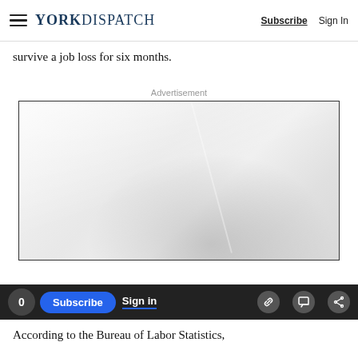YORK DISPATCH | Subscribe | Sign In
survive a job loss for six months.
Advertisement
[Figure (other): Blank advertisement placeholder box with gradient gray background and diagonal light reflection]
According to the Bureau of Labor Statistics,